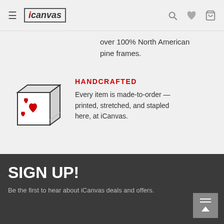iCanvas navigation header with hamburger menu, logo, search, wishlist, and cart icons
over 100% North American pine frames.
[Figure (illustration): Line-art illustration of a canvas print with red hearts on a white canvas stretched over a frame, shown in 3D perspective]
HANDCRAFTED
Every item is made-to-order — printed, stretched, and stapled here, at iCanvas.
LEARN MORE
SIGN UP!
Be the first to hear about iCanvas deals and offers.